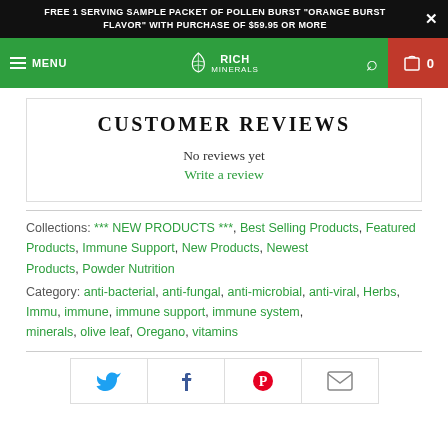FREE 1 SERVING SAMPLE PACKET OF POLLEN BURST "ORANGE BURST FLAVOR" WITH PURCHASE OF $59.95 OR MORE
[Figure (screenshot): Green navigation bar with hamburger menu, MENU text, Rich Minerals logo in center, search icon, and red shopping cart with 0]
CUSTOMER REVIEWS
No reviews yet
Write a review
Collections: *** NEW PRODUCTS ***, Best Selling Products, Featured Products, Immune Support, New Products, Newest Products, Powder Nutrition
Category: anti-bacterial, anti-fungal, anti-microbial, anti-viral, Herbs, Immu, immune, immune support, immune system, minerals, olive leaf, Oregano, vitamins
[Figure (infographic): Social sharing icons: Twitter (blue bird), Facebook (blue f), Pinterest (red P), Email (grey envelope)]